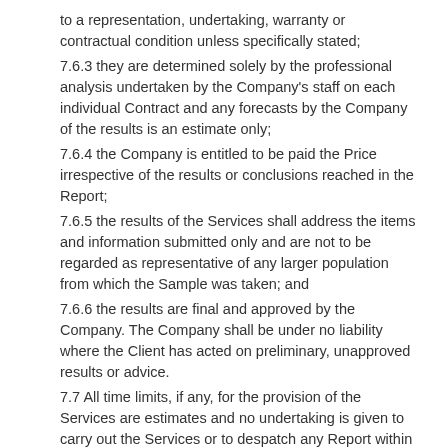to a representation, undertaking, warranty or contractual condition unless specifically stated;
7.6.3 they are determined solely by the professional analysis undertaken by the Company's staff on each individual Contract and any forecasts by the Company of the results is an estimate only;
7.6.4 the Company is entitled to be paid the Price irrespective of the results or conclusions reached in the Report;
7.6.5 the results of the Services shall address the items and information submitted only and are not to be regarded as representative of any larger population from which the Sample was taken; and
7.6.6 the results are final and approved by the Company. The Company shall be under no liability where the Client has acted on preliminary, unapproved results or advice.
7.7 All time limits, if any, for the provision of the Services are estimates and no undertaking is given to carry out the Services or to despatch any Report within any period of time.
7.8 The Company shall not be liable to the Client or be deemed to be in breach of the Contract by reason of any delay in performing, or any failure to perform, any of the Company's obligations in relation to the Services, if the delay or failure was due to any cause beyond the Company's reasonable control. Without prejudice to the generality of the foregoing, causes beyond the